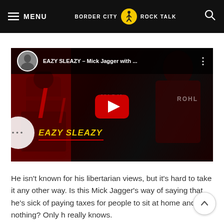MENU | BORDER CITY ROCK TALK | Search
[Figure (screenshot): YouTube video embed showing 'EAZY SLEAZY — Mick Jagger with ...' with a dark red-toned thumbnail featuring band performance imagery, a circular avatar of Mick Jagger, and a YouTube play button in the center. Text overlay reads MICK JAGGER, ROHL, WITH, EAZY SLEAZY.]
He isn't known for his libertarian views, but it's hard to take it any other way. Is this Mick Jagger's way of saying that he's sick of paying taxes for people to sit at home and do nothing? Only h really knows.